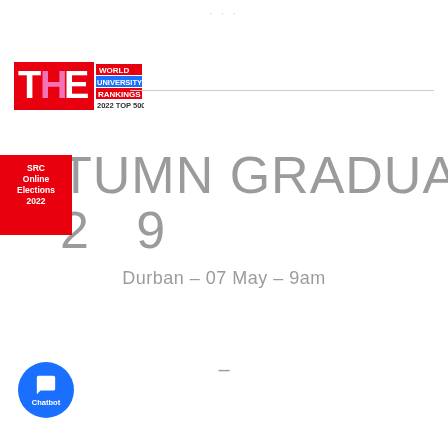[Figure (logo): THE World University Rankings 2022 Top 500 logo]
AUTUMN GRADUATION 2019
Durban – 07 May – 9am
[Figure (infographic): SRC Online Elections 2022 red banner badge]
[Figure (infographic): Chatbot blue circle button with chat icon]
–